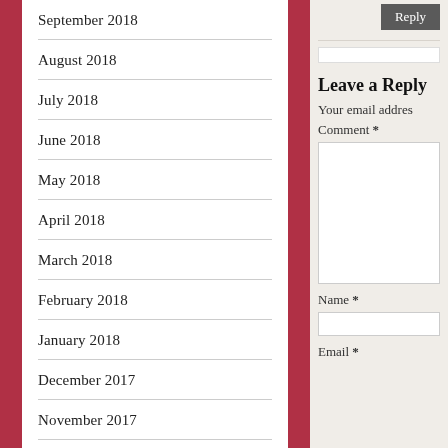September 2018
August 2018
July 2018
June 2018
May 2018
April 2018
March 2018
February 2018
January 2018
December 2017
November 2017
October 2017
September 2017
August 2017
Leave a Reply
Your email address
Comment *
Name *
Email *